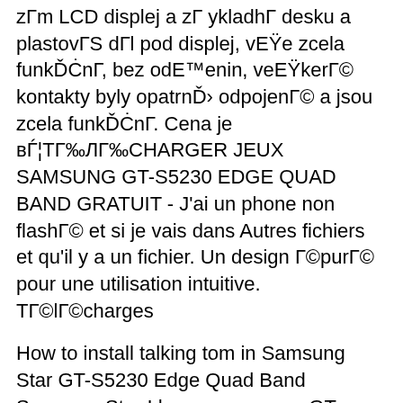zГm LCD displej a zГ ykladhГ desku a plastovГS dГl pod displej, vEŸe zcela funkĎĊnГ, bez odE™enin, veEŸkerГ© kontakty byly opatrnĎ› odpojenГ© a jsou zcela funkĎĊnГ. Cena je вЃ¦ТГ‰ЛГ‰CHARGER JEUX SAMSUNG GT-S5230 EDGE QUAD BAND GRATUIT - J'ai un phone non flashГ© et si je vais dans Autres fichiers et qu'il y a un fichier. Un design Г©purГ© pour une utilisation intuitive. ТГ©lГ©charges
How to install talking tom in Samsung Star GT-S5230 Edge Quad Band Samsung Star I have a samsung GT b3410 EDGE quad band and ive a-FixYa. Manual para tu movil android, iphone, RIM, WP7, htc, LG, nokia, sony